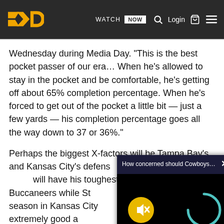Sports news website header with logo, WATCH NOW button, search, Login, cart, and menu icons
Wednesday during Media Day. “This is the best pocket passer of our era… When he’s allowed to stay in the pocket and be comfortable, he’s getting off about 65% completion percentage. When he’s forced to get out of the pocket a little bit — just a few yards — his completion percentage goes all the way down to 37 or 36%.”
Perhaps the biggest X-factors will be Tampa Bay’s and Kansas City’s defens… … Todd Reed will have his toughest … Buccaneers while St… season in Kansas City … are extremely good a… better will be on the S…
[Figure (screenshot): Video popup overlay with dark title bar reading 'How concerned should Cowboys be abo...' with a close X button, and a black video area showing a muted speaker icon (yellow circle) and a loading spinner (teal arc)]